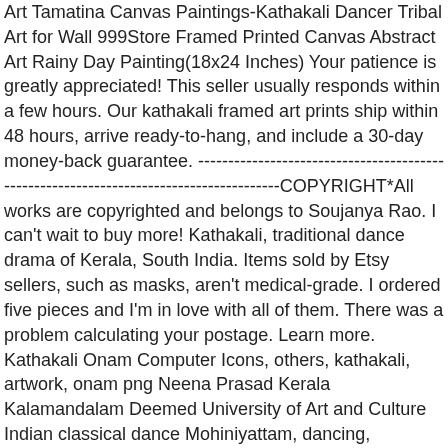Art Tamatina Canvas Paintings-Kathakali Dancer Tribal Art for Wall 999Store Framed Printed Canvas Abstract Art Rainy Day Painting(18x24 Inches) Your patience is greatly appreciated! This seller usually responds within a few hours. Our kathakali framed art prints ship within 48 hours, arrive ready-to-hang, and include a 30-day money-back guarantee. ---------------------------------------------------------------------------------------------------COPYRIGHT*All works are copyrighted and belongs to Soujanya Rao. I can't wait to buy more! Kathakali, traditional dance drama of Kerala, South India. Items sold by Etsy sellers, such as masks, aren't medical-grade. I ordered five pieces and I'm in love with all of them. There was a problem calculating your postage. Learn more. Kathakali Onam Computer Icons, others, kathakali, artwork, onam png Neena Prasad Kerala Kalamandalam Deemed University of Art and Culture Indian classical dance Mohiniyattam, dancing, miscellaneous, hair Accessory, tradition png Kathakali has the most elaborate costume consisting of head dresses, face masks and vividly painted faces. 350x350 tamatina canvas